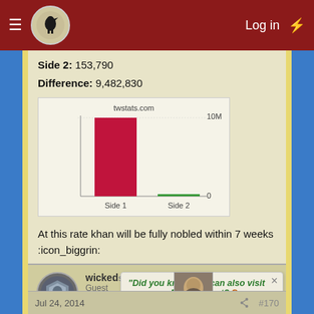Log in
Side 2: 153,790
Difference: 9,482,830
[Figure (bar-chart): twstats.com]
At this rate khan will be fully nobled within 7 weeks :icon_biggrin:
wickedsweetone
Guest
"Did you know you can also visit us on our Discord chat? Come and meet us!
Jul 24, 2014    #170